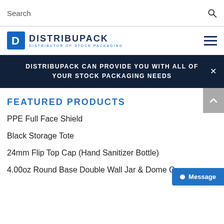Search
[Figure (logo): Distribupack logo — blue square with letter D and text DISTRIBUPACK DISTRIBUTOR OF STOCK PACKAGING]
DISTRIBUPACK CAN PROVIDE YOU WITH ALL OF YOUR STOCK PACKAGING NEEDS
FEATURED PRODUCTS
PPE Full Face Shield
Black Storage Tote
24mm Flip Top Cap (Hand Sanitizer Bottle)
4.00oz Round Base Double Wall Jar & Dome Cap